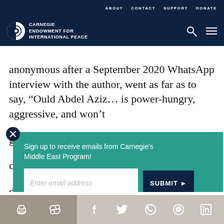ABOUT  CONTACT  SUPPORT  DONATE
[Figure (logo): Carnegie Endowment for International Peace logo with globe icon]
anonymous after a September 2020 WhatsApp interview with the author, went as far as to say, “Ould Abdel Aziz… is power-hungry, aggressive, and won’t g… c… d… c… C…
Sign up to receive emails from Carnegie’s Middle East Program!
Enter email address
SUBMIT ►
Ghazouani would be a puppet. But from early on the
Print  Link  Facebook  Twitter  WhatsApp  Messenger  LinkedIn